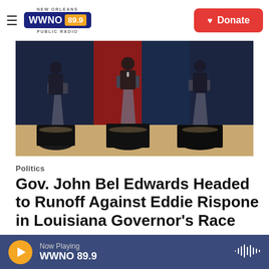NEW ORLEANS WWNO 89.9 PUBLIC RADIO | Donate
[Figure (photo): Three podiums with transparent acrylic stands draped in black cloth on a stage, as would be used in a political debate. Dark background with blue and red tones.]
Politics
Gov. John Bel Edwards Headed to Runoff Against Eddie Rispone in Louisiana Governor's Race
Paul Braun,  October 13, 2019
Now Playing WWNO 89.9